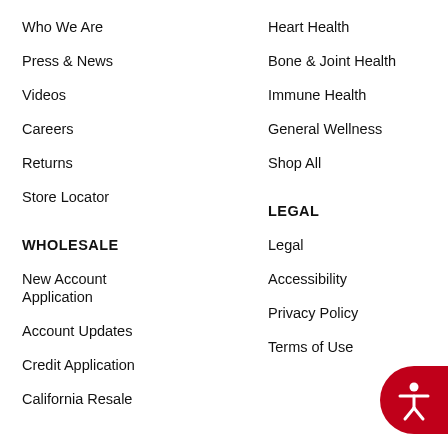Who We Are
Press & News
Videos
Careers
Returns
Store Locator
Heart Health
Bone & Joint Health
Immune Health
General Wellness
Shop All
WHOLESALE
New Account Application
Account Updates
Credit Application
California Resale
LEGAL
Legal
Accessibility
Privacy Policy
Terms of Use